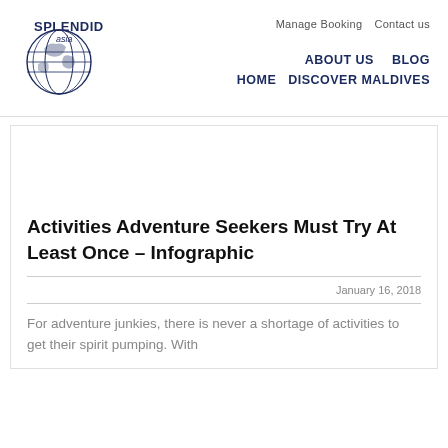[Figure (logo): Splendid Asia logo — globe illustration with 'SPLENDID asia' text]
Manage Booking  Contact us
ABOUT US  BLOG
HOME  DISCOVER MALDIVES
Activities Adventure Seekers Must Try At Least Once – Infographic
January 16, 2018
For adventure junkies, there is never a shortage of activities to get their spirit pumping. With